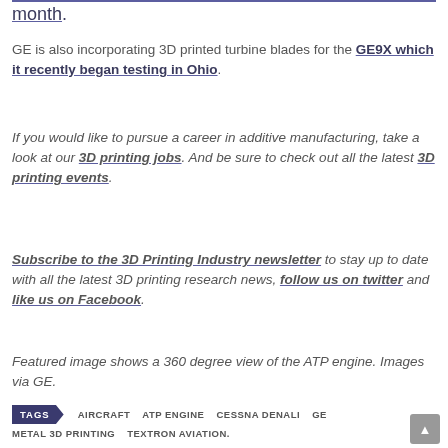month.
GE is also incorporating 3D printed turbine blades for the GE9X which it recently began testing in Ohio.
If you would like to pursue a career in additive manufacturing, take a look at our 3D printing jobs. And be sure to check out all the latest 3D printing events.
Subscribe to the 3D Printing Industry newsletter to stay up to date with all the latest 3D printing research news, follow us on twitter and like us on Facebook.
Featured image shows a 360 degree view of the ATP engine. Images via GE.
TAGS  AIRCRAFT  ATP ENGINE  CESSNA DENALI  GE  METAL 3D PRINTING  TEXTRON AVIATION.